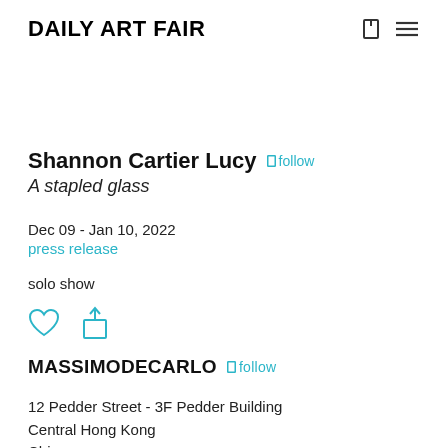Daily Art Fair
Shannon Cartier Lucy  follow
A stapled glass
Dec 09 - Jan 10, 2022
press release
solo show
MASSIMODECARLO  follow
12 Pedder Street - 3F Pedder Building
Central Hong Kong
China